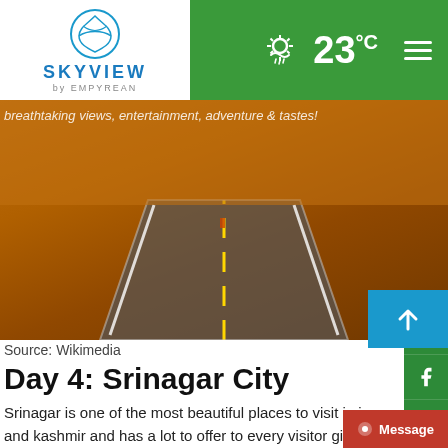SKYVIEW by EMPYREAN | 23°C
[Figure (photo): Hero image showing a road from an overhead/tunnel perspective with orange/golden lighting. Text overlay reads: breathtaking views, entertainment, adventure & tastes!]
Source: Wikimedia
Day 4: Srinagar City
Srinagar is one of the most beautiful places to visit in jamm and kashmir and has a lot to offer to every visitor given the number of Mughal Gardens located at the bank of Dal la ch as Nishat Bagh, Shalimar Garden, Chashma Shahi, Pari M etc. Also, visit to several shrines of different Sufi saints in the old town of Srinagar that can be interesting and provide you with a spiritual experience like no other. While in Srinaga t to try the Kashmiri Wazwan at the famous Mughal Darbar